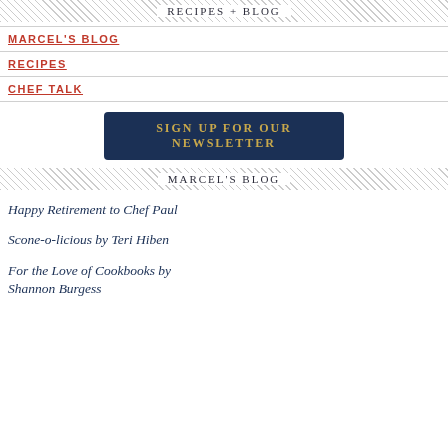RECIPES + BLOG
MARCEL'S BLOG
RECIPES
CHEF TALK
[Figure (other): Dark navy button with gold text reading SIGN UP for our NEWSLETTER]
MARCEL'S BLOG
Happy Retirement to Chef Paul
Scone-o-licious by Teri Hiben
For the Love of Cookbooks by Shannon Burgess